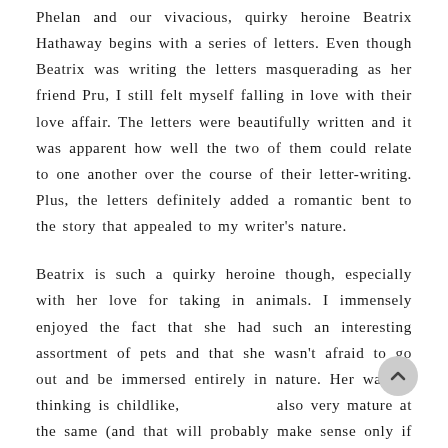Phelan and our vivacious, quirky heroine Beatrix Hathaway begins with a series of letters. Even though Beatrix was writing the letters masquerading as her friend Pru, I still felt myself falling in love with their love affair. The letters were beautifully written and it was apparent how well the two of them could relate to one another over the course of their letter-writing. Plus, the letters definitely added a romantic bent to the story that appealed to my writer's nature.
Beatrix is such a quirky heroine though, especially with her love for taking in animals. I immensely enjoyed the fact that she had such an interesting assortment of pets and that she wasn't afraid to go out and be immersed entirely in nature. Her way of thinking is childlike, also very mature at the same (and that will probably make sense only if you've read the book). She does seem like a